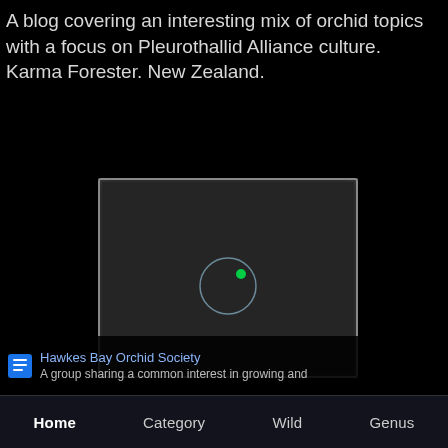A blog covering an interesting mix of orchid topics with a focus on Pleurothallid Alliance culture. Karma Forester. New Zealand.
[Figure (screenshot): Dark rectangular video player area with a circle and green dot indicator in the center, on a black background with a glowing border effect]
Hawkes Bay Orchid Society
A group sharing a common interest in growing and
Home   Category   Wild   Genus